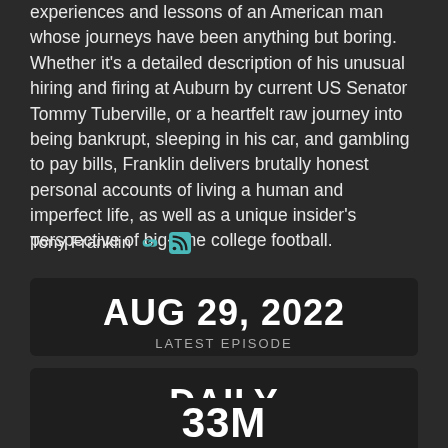experiences and lessons of an American man whose journeys have been anything but boring. Whether it's a detailed description of his unusual hiring and firing at Auburn by current US Senator Tommy Tuberville, or a heartfelt raw journey into being bankrupt, sleeping in his car, and gambling to pay bills, Franklin delivers brutally honest personal accounts of living a human and imperfect life, as well as a unique insider's perspective of big-time college football.
Tony Franklin
AUG 29, 2022
LATEST EPISODE
DAILY
NEW EPISODES
33M